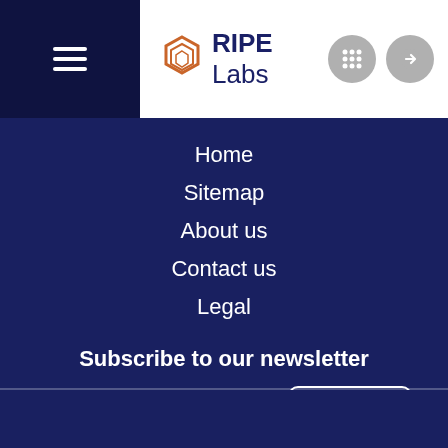[Figure (logo): RIPE Labs logo with hexagon icon]
Home
Sitemap
About us
Contact us
Legal
Subscribe to our newsletter
Your email address
Subscribe
By clicking “Subscribe”, you agree to receive occasional news and updates on the latest from RIPE Labs. Please check the RIPE NCC Privacy Statement to know how we process personal data.